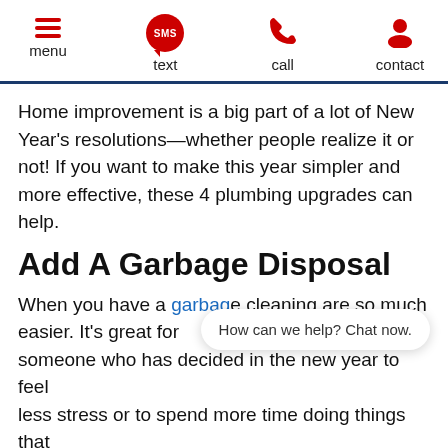menu  text  call  contact
Home improvement is a big part of a lot of New Year's resolutions—whether people realize it or not! If you want to make this year simpler and more effective, these 4 plumbing upgrades can help.
Add A Garbage Disposal
When you have a garbage [disposal], cleaning are so much easier. It's a great for someone who has decided in the new year to feel less stress or to spend more time doing things that are fun! If you've gone this long without a garbage disposal in your kitchen sink, make the change